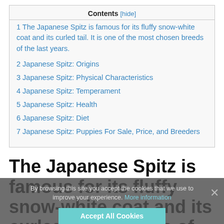Contents [hide]
1 The Japanese Spitz is famous for its fluffy snow-white coat and its curled tail. It is one of the most chosen breeds of the last years.
2 Japanese Spitz: Origins
3 Japanese Spitz: Physical Characteristics
4 Japanese Spitz: Temperament
5 Japanese Spitz: Health
6 Japanese Spitz: Diet
7 Japanese Spitz: Puppies For Sale, Price, and Breeders
The Japanese Spitz is famous for its fluffy snow-white coat and its curled tail. It is one of the most chosen breeds of the last years.
By browsing this site you accept the cookies that we use to improve your experience. More information